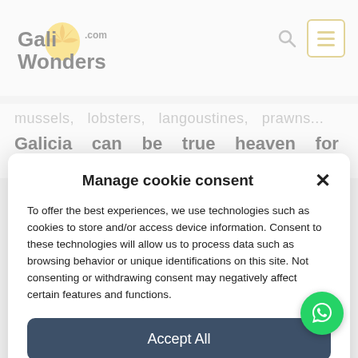GaliWonders.com
mussels, lobsters, langoustines, prawns...
Galicia can be true heaven for those who
Manage cookie consent
To offer the best experiences, we use technologies such as cookies to store and/or access device information. Consent to these technologies will allow us to process data such as browsing behavior or unique identifications on this site. Not consenting or withdrawing consent may negatively affect certain features and functions.
Accept All
See Preferences
Cookie Policy  Privacy Policy